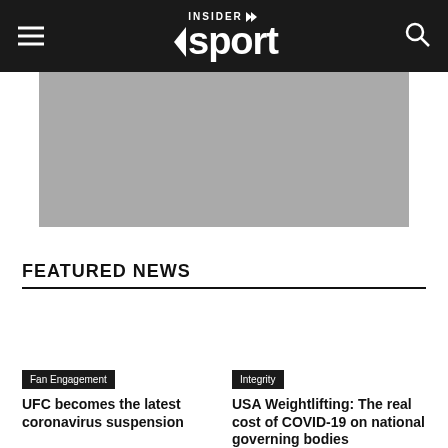INSIDER sport
[Figure (photo): Gray placeholder hero image]
FEATURED NEWS
Fan Engagement
UFC becomes the latest coronavirus suspension
Integrity
USA Weightlifting: The real cost of COVID-19 on national governing bodies